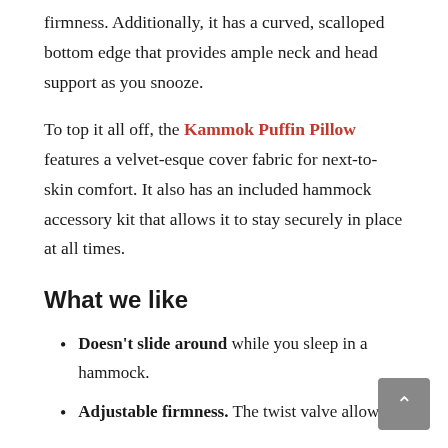firmness. Additionally, it has a curved, scalloped bottom edge that provides ample neck and head support as you snooze.
To top it all off, the Kammok Puffin Pillow features a velvet-esque cover fabric for next-to-skin comfort. It also has an included hammock accessory kit that allows it to stay securely in place at all times.
What we like
Doesn't slide around while you sleep in a hammock.
Adjustable firmness. The twist valve allows